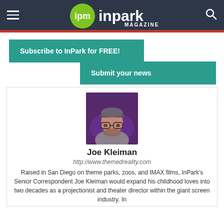InPark Magazine
Subscribe to InPark for FREE!
Submit your news
[Figure (photo): Profile photo of Joe Kleiman, a man wearing a cap and glasses in a dimly lit venue with purple lighting]
Joe Kleiman
http://www.themedreality.com
Raised in San Diego on theme parks, zoos, and IMAX films, InPark's Senior Correspondent Joe Kleiman would expand his childhood loves into two decades as a projectionist and theater director within the giant screen industry. In